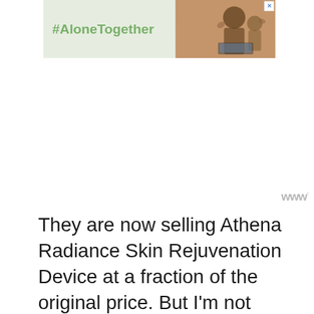[Figure (photo): Advertisement banner with light green background showing '#AloneTogether' text and a photo of a man and child waving at a laptop screen]
They are now selling Athena Radiance Skin Rejuvenation Device at a fraction of the original price. But I'm not sure if the price might go up soon.
That's why I ended up buying Athena Radiance Skin Rejuvenation Device from there and my wife loves it so much
[Figure (photo): Advertisement banner with dark background showing hands forming a heart shape and text 'LOVE > HATE']